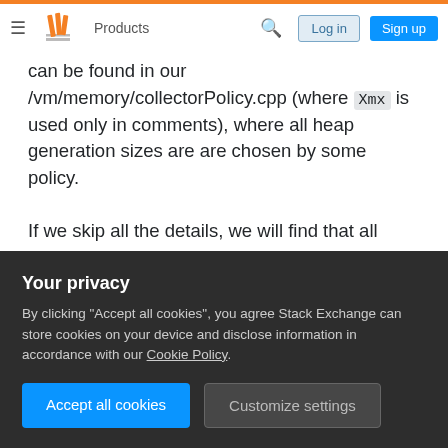Products | Log in | Sign up
can be found in our /vm/memory/collectorPolicy.cpp (where Xmx is used only in comments), where all heap generation sizes are are chosen by some policy.
If we skip all the details, we will find that all regions in heap should be aligned and region's sizes depends on ratio parameters.
The default JVM parameters for generation ratios are -XX:NewRatio=2 (ratio of young gen:old gen sizes) and ...
Your privacy
By clicking "Accept all cookies", you agree Stack Exchange can store cookies on your device and disclose information in accordance with our Cookie Policy.
Accept all cookies  Customize settings
possible sizes to satisfy the conditions of